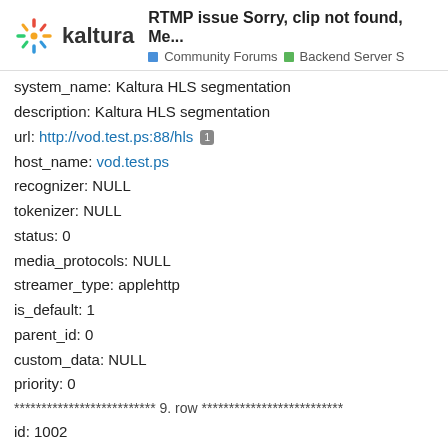RTMP issue Sorry, clip not found, Me... | Community Forums | Backend Server S
system_name: Kaltura HLS segmentation
description: Kaltura HLS segmentation
url: http://vod.test.ps:88/hls
host_name: vod.test.ps
recognizer: NULL
tokenizer: NULL
status: 0
media_protocols: NULL
streamer_type: applehttp
is_default: 1
parent_id: 0
custom_data: NULL
priority: 0
************************** 9. row **************************
id: 1002
partner_id: 0
created_at: 2015-05-26 10:06:01
updated_at: 2015-05-26 10:06:01
name: Kaltura HDS segmentation